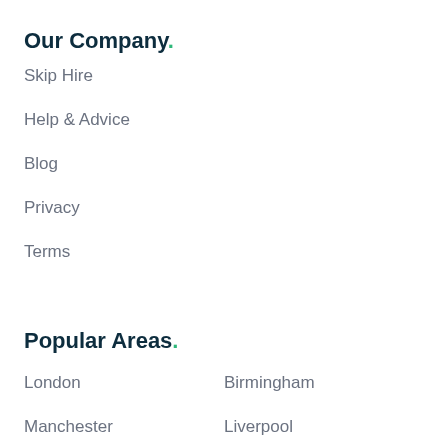Our Company.
Skip Hire
Help & Advice
Blog
Privacy
Terms
Popular Areas.
London
Birmingham
Manchester
Liverpool